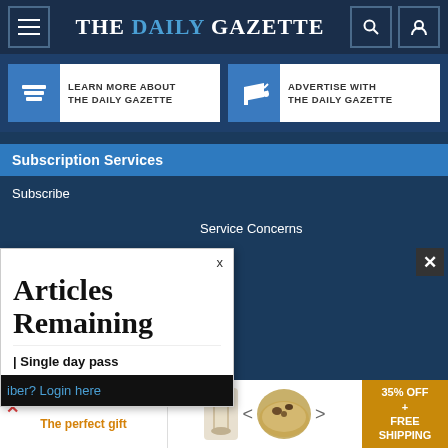THE DAILY GAZETTE
[Figure (screenshot): Two promotional banner cards: 'LEARN MORE ABOUT THE DAILY GAZETTE' and 'ADVERTISE WITH THE DAILY GAZETTE']
Subscription Services
Subscribe
Service Concerns
Issues
[Figure (screenshot): Popup overlay showing 'Articles Remaining' with 'Single day pass' option and 'Login here' link]
[Figure (screenshot): Bottom advertisement bar with 'The perfect gift' text and '35% OFF + FREE SHIPPING' offer]